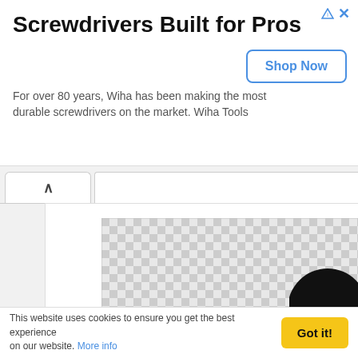Screwdrivers Built for Pros
For over 80 years, Wiha has been making the most durable screwdrivers on the market. Wiha Tools
Shop Now
[Figure (photo): Checkered placeholder image representing a product image (transparent/no-image placeholder)]
Glare Best Brands Devilfish Branding
This website uses cookies to ensure you get the best experience on our website. More info
Got it!